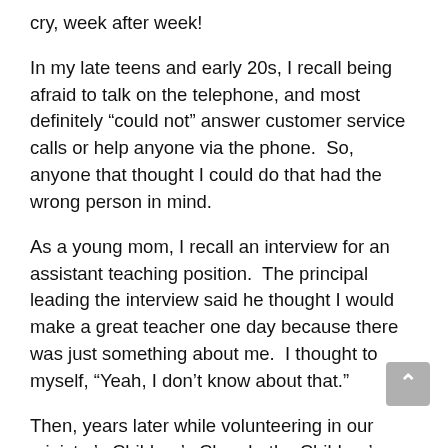cry, week after week!
In my late teens and early 20s, I recall being afraid to talk on the telephone, and most definitely “could not” answer customer service calls or help anyone via the phone.  So, anyone that thought I could do that had the wrong person in mind.
As a young mom, I recall an interview for an assistant teaching position.  The principal leading the interview said he thought I would make a great teacher one day because there was just something about me.  I thought to myself, “Yeah, I don’t know about that.”
Then, years later while volunteering in our ministry’s Children’s Church, the Children’s pastor saw